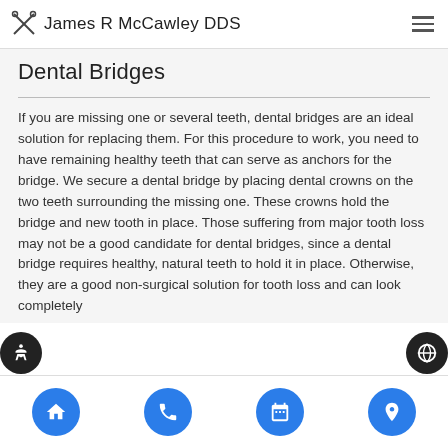James R McCawley DDS
Dental Bridges
If you are missing one or several teeth, dental bridges are an ideal solution for replacing them. For this procedure to work, you need to have remaining healthy teeth that can serve as anchors for the bridge. We secure a dental bridge by placing dental crowns on the two teeth surrounding the missing one. These crowns hold the bridge and new tooth in place. Those suffering from major tooth loss may not be a good candidate for dental bridges, since a dental bridge requires healthy, natural teeth to hold it in place. Otherwise, they are a good non-surgical solution for tooth loss and can look completely
navigation bar with home, phone, calendar, and location icons